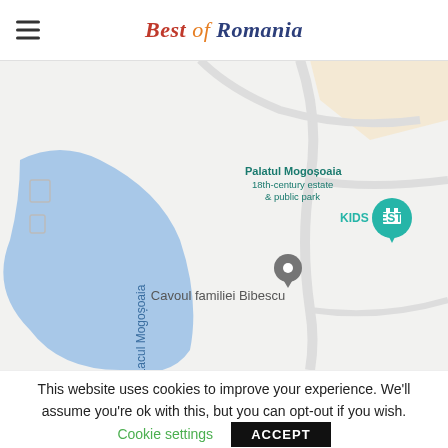Best of Romania
[Figure (map): Google Maps screenshot showing Lacul Mogoșoaia (blue lake on left), Palatul Mogoșoaia 18th-century estate & public park label (top center), KIDS FEST location pin (right), and Cavoul familiei Bibescu location pin with gray marker in center.]
This website uses cookies to improve your experience. We'll assume you're ok with this, but you can opt-out if you wish.
Cookie settings    ACCEPT